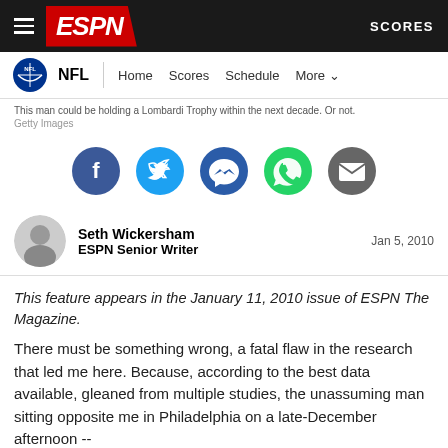ESPN - NFL - Home - Scores - Schedule - More - SCORES
This man could be holding a Lombardi Trophy within the next decade. Or not.
Getty Images
[Figure (infographic): Social sharing icons: Facebook, Twitter, Messenger, WhatsApp, Email]
Seth Wickersham
ESPN Senior Writer
Jan 5, 2010
This feature appears in the January 11, 2010 issue of ESPN The Magazine.
There must be something wrong, a fatal flaw in the research that led me here. Because, according to the best data available, gleaned from multiple studies, the unassuming man sitting opposite me in Philadelphia on a late-December afternoon --